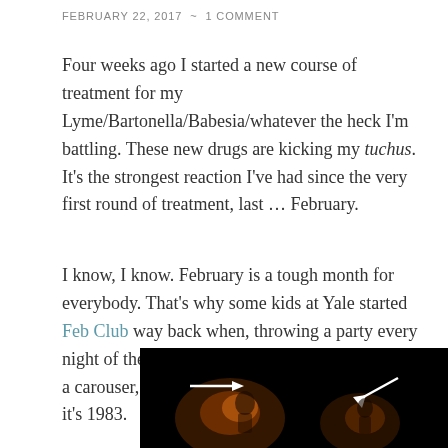FEBRUARY 22, 2017  ~  1 COMMENT
Four weeks ago I started a new course of treatment for my Lyme/Bartonella/Babesia/whatever the heck I'm battling. These new drugs are kicking my tuchus. It's the strongest reaction I've had since the very first round of treatment, last … February.
I know, I know. February is a tough month for everybody. That's why some kids at Yale started Feb Club way back when, throwing a party every night of the month. But I've never been much of a carouser, and anyway I'm sick. I can't party like it's 1983.
[Figure (photo): Dark photograph with two white arrows pointing to objects, possibly people or figures, on a dark background with orange/brown lighting.]